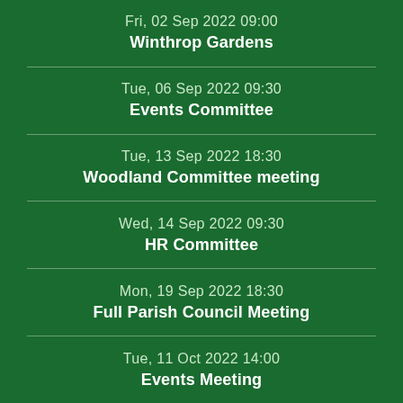Fri, 02 Sep 2022 09:00
Winthrop Gardens
Tue, 06 Sep 2022 09:30
Events Committee
Tue, 13 Sep 2022 18:30
Woodland Committee meeting
Wed, 14 Sep 2022 09:30
HR Committee
Mon, 19 Sep 2022 18:30
Full Parish Council Meeting
Tue, 11 Oct 2022 14:00
Events Meeting